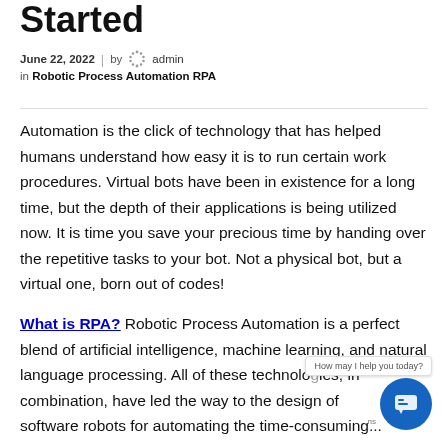Started
June 22, 2022  |  by admin
in Robotic Process Automation RPA
Automation is the click of technology that has helped humans understand how easy it is to run certain work procedures. Virtual bots have been in existence for a long time, but the depth of their applications is being utilized now. It is time you save your precious time by handing over the repetitive tasks to your bot. Not a physical bot, but a virtual one, born out of codes!
What is RPA? Robotic Process Automation is a perfect blend of artificial intelligence, machine learning, and natural language processing. All of these technologies, in combination, have led the way to the design of software robots for automating the time-consuming...